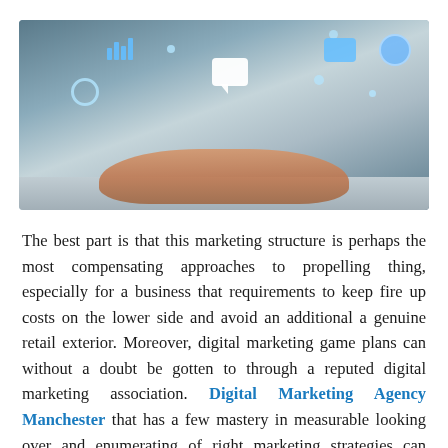[Figure (photo): Person's hands typing on a laptop with digital marketing holographic icons floating above the keyboard, including chat bubbles, bar charts, and other digital interface elements on a dark blue-toned background.]
The best part is that this marketing structure is perhaps the most compensating approaches to propelling thing, especially for a business that requirements to keep fire up costs on the lower side and avoid an additional a genuine retail exterior. Moreover, digital marketing game plans can without a doubt be gotten to through a reputed digital marketing association. Digital Marketing Agency Manchester that has a few mastery in measurable looking over and enumerating of right marketing strategies can update your business prospects immense sums all at once. It can help you with creating client organizations and clients by working with informed decisions about their purchases